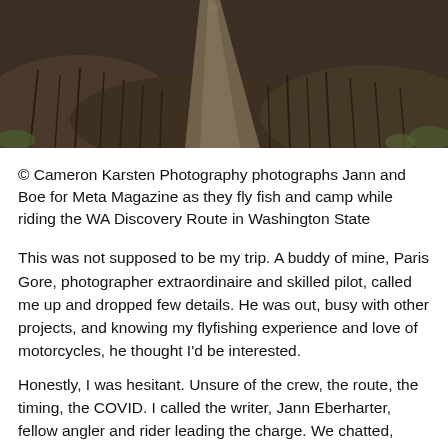[Figure (photo): Aerial view of a dirt road winding through a burned forest with sparse green patches, photographed from above.]
© Cameron Karsten Photography photographs Jann and Boe for Meta Magazine as they fly fish and camp while riding the WA Discovery Route in Washington State
This was not supposed to be my trip. A buddy of mine, Paris Gore, photographer extraordinaire and skilled pilot, called me up and dropped few details. He was out, busy with other projects, and knowing my flyfishing experience and love of motorcycles, he thought I'd be interested.
Honestly, I was hesitant. Unsure of the crew, the route, the timing, the COVID. I called the writer, Jann Eberharter, fellow angler and rider leading the charge. We chatted,